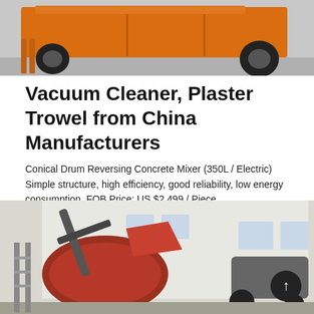[Figure (photo): Orange construction machine / concrete mixer on wheels, photographed from the side on a paved surface]
Vacuum Cleaner, Plaster Trowel from China Manufacturers
Conical Drum Reversing Concrete Mixer (350L / Electric) Simple structure, high efficiency, good reliability, low energy consumption. FOB Price: US $2,499 / Piece
Learn More
[Figure (photo): Red concrete mixer machine outdoors in front of a white building with a tractor attachment visible on the right]